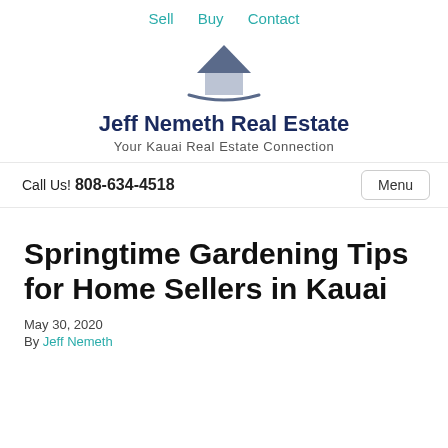Sell  Buy  Contact
[Figure (logo): House icon logo with roof peak and curved base line in dark gray/slate color]
Jeff Nemeth Real Estate
Your Kauai Real Estate Connection
Call Us! 808-634-4518
Springtime Gardening Tips for Home Sellers in Kauai
May 30, 2020
By Jeff Nemeth